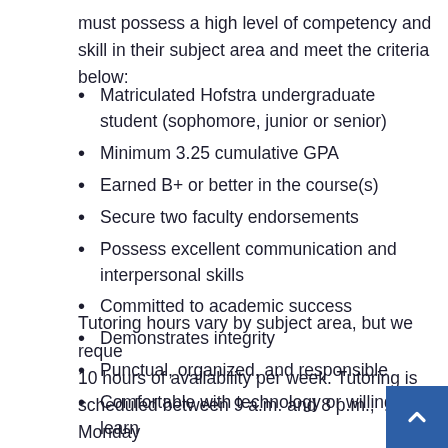must possess a high level of competency and skill in their subject area and meet the criteria below:
Matriculated Hofstra undergraduate student (sophomore, junior or senior)
Minimum 3.25 cumulative GPA
Earned B+ or better in the course(s)
Secure two faculty endorsements
Possess excellent communication and interpersonal skills
Committed to academic success
Demonstrates integrity
Punctual, organized, and responsible
Comfortable with technology or willing to learn
Tutoring hours vary by subject area, but we reque 10 hours of availability per week. Tutoring is scheduled between 9 a.m. and 8 p.m., Monday